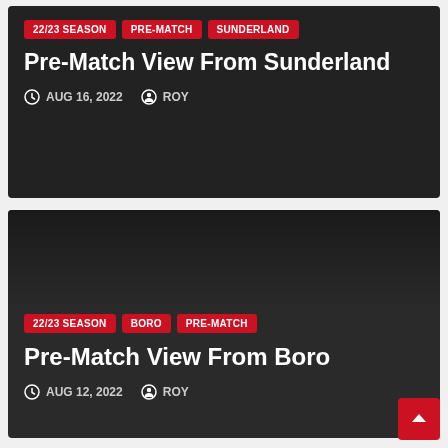[Figure (screenshot): Dark card for 'Pre-Match View From Sunderland' blog post with red tags '22/23 SEASON', 'PRE-MATCH', 'SUNDERLAND', date AUG 16, 2022 and author ROY]
[Figure (screenshot): Dark card for 'Pre-Match View From Boro' blog post with red tags '22/23 SEASON', 'BORO', 'PRE-MATCH', date AUG 12, 2022 and author ROY]